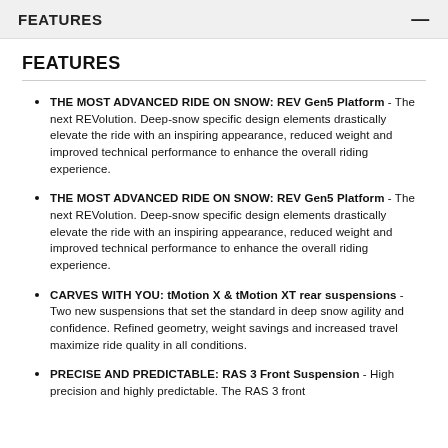FEATURES
FEATURES
THE MOST ADVANCED RIDE ON SNOW: REV Gen5 Platform - The next REVolution. Deep-snow specific design elements drastically elevate the ride with an inspiring appearance, reduced weight and improved technical performance to enhance the overall riding experience.
THE MOST ADVANCED RIDE ON SNOW: REV Gen5 Platform - The next REVolution. Deep-snow specific design elements drastically elevate the ride with an inspiring appearance, reduced weight and improved technical performance to enhance the overall riding experience.
CARVES WITH YOU: tMotion X & tMotion XT rear suspensions - Two new suspensions that set the standard in deep snow agility and confidence. Refined geometry, weight savings and increased travel maximize ride quality in all conditions.
PRECISE AND PREDICTABLE: RAS 3 Front Suspension - High precision and highly predictable. The RAS 3 front...